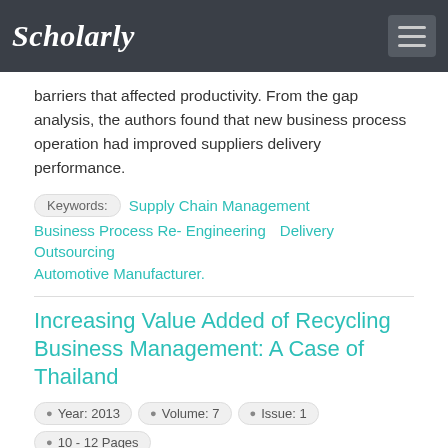Scholarly
barriers that affected productivity. From the gap analysis, the authors found that new business process operation had improved suppliers delivery performance.
Keywords: Supply Chain Management Business Process Re- Engineering Delivery Outsourcing Automotive Manufacturer.
Increasing Value Added of Recycling Business Management: A Case of Thailand
Year: 2013  Volume: 7  Issue: 1  10 - 12 Pages
Authors: Yananda Siraphatthada
Abstract: This policy participation action research explores the roles of Thai government units during its 2010 fiscal year on how to create value added to recycling business in the central part of Thailand. The research aims to a) study how the government plays a role to support the business, and its